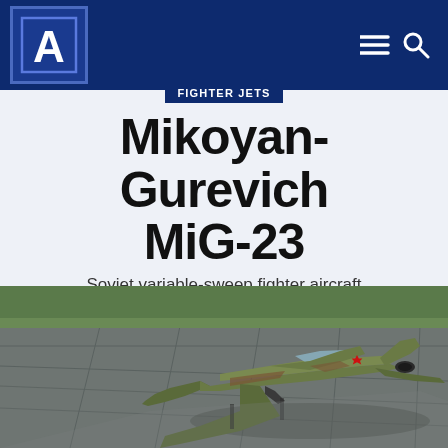A [logo] — Fighter Jets website header with navigation icons
FIGHTER JETS
Mikoyan-Gurevich MiG-23
Soviet variable-sweep fighter aircraft
[Figure (photo): A MiG-23 Soviet variable-sweep fighter jet aircraft on a tarmac/runway, seen from above-front angle, with camouflage green/brown paint scheme and Soviet red star markings. Green grass visible in background.]